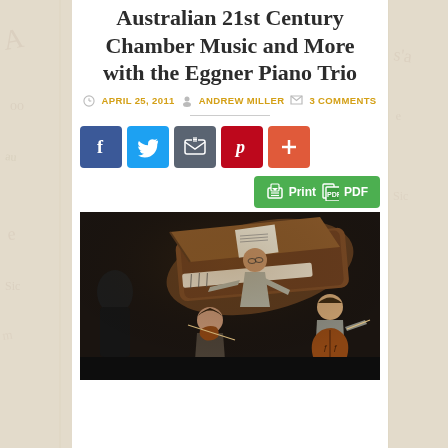Australian 21st Century Chamber Music and More with the Eggner Piano Trio
April 25, 2011 · Andrew Miller · 3 Comments
[Figure (infographic): Social sharing buttons: Facebook (blue), Twitter (light blue), Email (gray), Pinterest (red), Plus/More (orange-red)]
[Figure (other): Print PDF green button]
[Figure (photo): Photo of three musicians performing: a pianist leaning over a grand piano, a violinist in foreground, and a cellist on the right, on a dark stage]